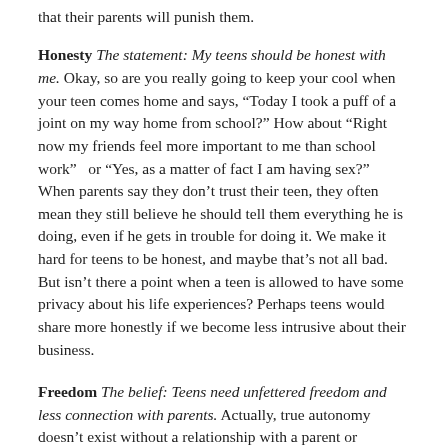that their parents will punish them.
Honesty The statement: My teens should be honest with me. Okay, so are you really going to keep your cool when your teen comes home and says, “Today I took a puff of a joint on my way home from school?” How about “Right now my friends feel more important to me than school work”   or “Yes, as a matter of fact I am having sex?”   When parents say they don’t trust their teen, they often mean they still believe he should tell them everything he is doing, even if he gets in trouble for doing it. We make it hard for teens to be honest, and maybe that’s not all bad. But isn’t there a point when a teen is allowed to have some privacy about his life experiences? Perhaps teens would share more honestly if we become less intrusive about their business.
Freedom The belief: Teens need unfettered freedom and less connection with parents. Actually, true autonomy doesn’t exist without a relationship with a parent or caregiver. When we